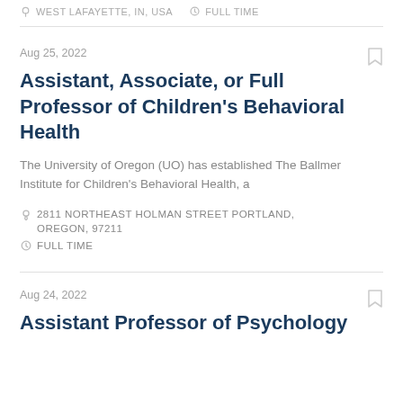WEST LAFAYETTE, IN, USA   FULL TIME
Aug 25, 2022
Assistant, Associate, or Full Professor of Children's Behavioral Health
The University of Oregon (UO) has established The Ballmer Institute for Children's Behavioral Health, a
2811 NORTHEAST HOLMAN STREET PORTLAND, OREGON, 97211
FULL TIME
Aug 24, 2022
Assistant Professor of Psychology